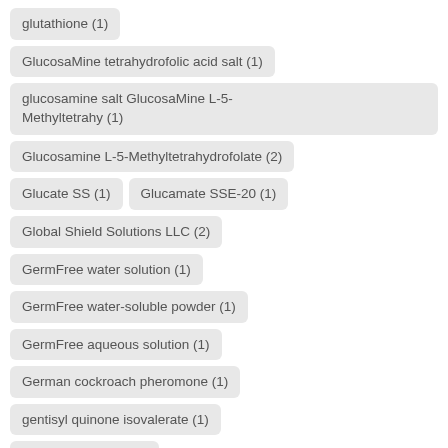glutathione (1)
GlucosaMine tetrahydrofolic acid salt (1)
glucosamine salt GlucosaMine L-5-Methyltetrahy (1)
Glucosamine L-5-Methyltetrahydrofolate (2)
Glucate SS (1)
Glucamate SSE-20 (1)
Global Shield Solutions LLC (2)
GermFree water solution (1)
GermFree water-soluble powder (1)
GermFree aqueous solution (1)
German cockroach pheromone (1)
gentisyl quinone isovalerate (1)
gelest silane quat (2)